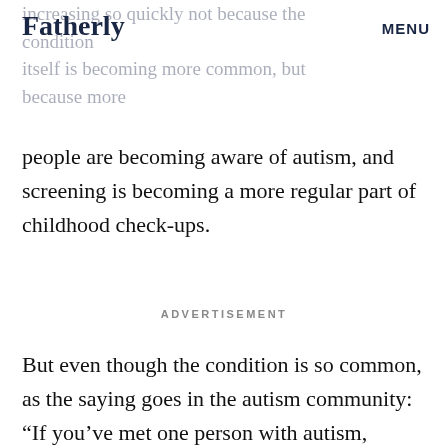Fatherly   MENU
increasing so quickly not because the condition itself is becoming more common, but because more people are becoming aware of autism, and screening is becoming a more regular part of childhood check-ups.
ADVERTISEMENT
But even though the condition is so common, as the saying goes in the autism community: “If you’ve met one person with autism, you’ve met one person with autism.” The behavior, mannerisms, difficulties, and